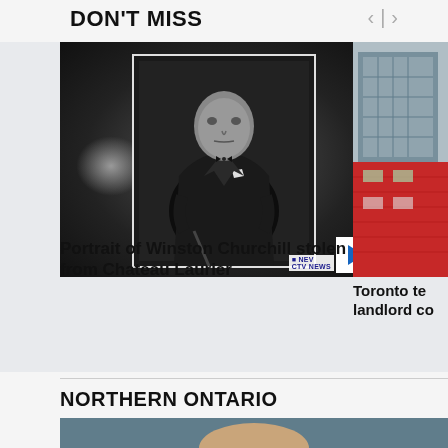DON'T MISS
[Figure (photo): Black and white portrait photo of Winston Churchill sitting in a chair, with blurred edges, and a CTV News logo and play button overlay]
Portrait of Winston Churchill stolen from Chateau Laurier
[Figure (photo): Partial view of Toronto building exterior showing red brick and glass tower, partially cropped on the right side]
Toronto te landlord co
NORTHERN ONTARIO
[Figure (photo): Partial image at the bottom showing the top of a person's head in an outdoor setting, partially cropped]